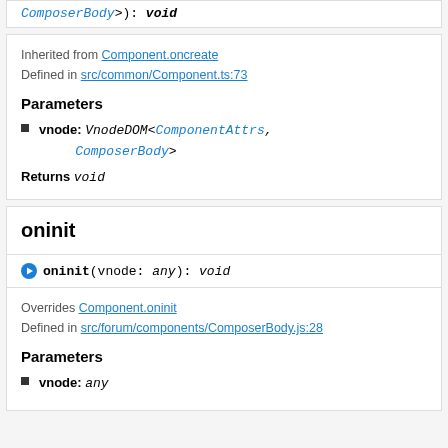ComposerBody>): void
Inherited from Component.oncreate
Defined in src/common/Component.ts:73
Parameters
vnode: VnodeDOM<ComponentAttrs, ComposerBody>
Returns void
oninit
oninit(vnode: any): void
Overrides Component.oninit
Defined in src/forum/components/ComposerBody.js:28
Parameters
vnode: any